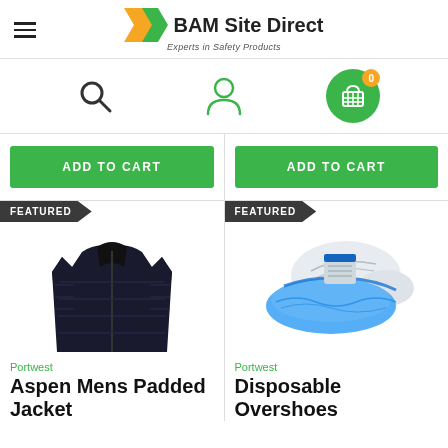[Figure (logo): BAM Site Direct logo with arrow chevrons in orange/green and tagline 'Experts in Safety Products']
[Figure (infographic): Navigation icons row: search magnifier, user account silhouette, green shopping cart circle with orange badge showing 0]
ADD TO CART
ADD TO CART
[Figure (illustration): FEATURED badge with black puffer jacket (Portwest Aspen Mens Padded Jacket)]
Portwest
Aspen Mens Padded Jacket
[Figure (illustration): FEATURED badge with blue disposable overshoe on white sneaker (Portwest Disposable Overshoes)]
Portwest
Disposable Overshoes